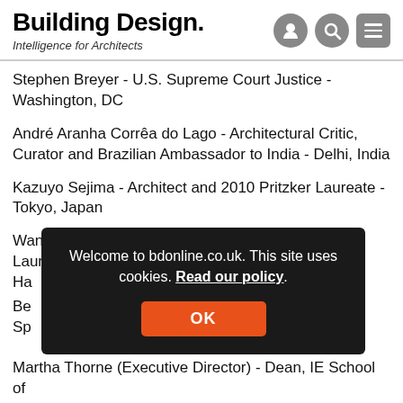Building Design. Intelligence for Architects
Stephen Breyer - U.S. Supreme Court Justice - Washington, DC
André Aranha Corrêa do Lago - Architectural Critic, Curator and Brazilian Ambassador to India - Delhi, India
Kazuyo Sejima - Architect and 2010 Pritzker Laureate - Tokyo, Japan
Wang Shu - Architect, Educator and 2012 Pritzker Laureate - Ha...
Welcome to bdonline.co.uk. This site uses cookies. Read our policy.
Martha Thorne (Executive Director) - Dean, IE School of